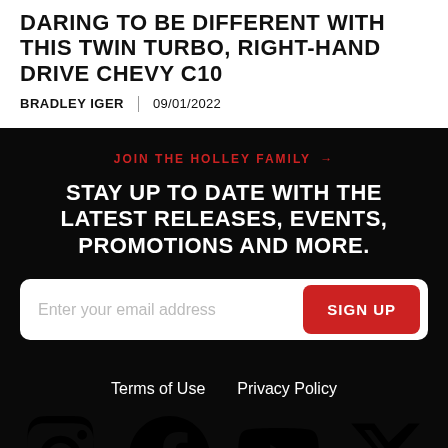DARING TO BE DIFFERENT WITH THIS TWIN TURBO, RIGHT-HAND DRIVE CHEVY C10
BRADLEY IGER  09/01/2022
JOIN THE HOLLEY FAMILY →
STAY UP TO DATE WITH THE LATEST RELEASES, EVENTS, PROMOTIONS AND MORE.
Enter your email address  SIGN UP
Terms of Use  Privacy Policy